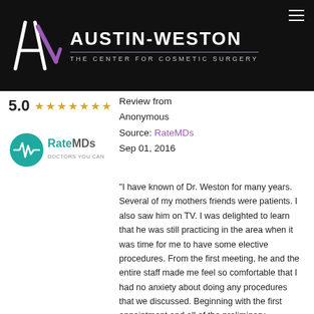[Figure (logo): Austin-Weston The Center for Cosmetic Surgery logo with stylized AW monogram on black background]
5.0 ★★★★★ Review from Anonymous Source: RateMDs Sep 01, 2016
[Figure (logo): RateMDs - Doctors You Can Trust logo]
"I have known of Dr. Weston for many years. Several of my mothers friends were patients. I also saw him on TV. I was delighted to learn that he was still practicing in the area when it was time for me to have some elective procedures. From the first meeting, he and the entire staff made me feel so comfortable that I had no anxiety about doing any procedures that we discussed. Beginning with the first appointment and all of the preliminary